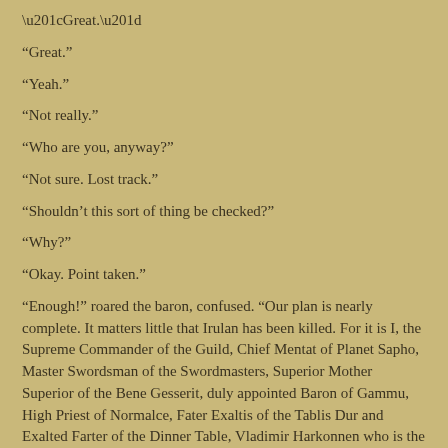“Great.”
“Yeah.”
“Not really.”
“Who are you, anyway?”
“Not sure. Lost track.”
“Shouldn’t this sort of thing be checked?”
“Why?”
“Okay. Point taken.”
“Enough!” roared the baron, confused. “Our plan is nearly complete. It matters little that Irulan has been killed. For it is I, the Supreme Commander of the Guild, Chief Mentat of Planet Sapho, Master Swordsman of the Swordmasters, Superior Mother Superior of the Bene Gesserit, duly appointed Baron of Gammu, High Priest of Normalce, Fater Exaltis of the Tablis Dur and Exalted Farter of the Dinner Table, Vladimir Harkonnen who is the real enemy! Yes! It is true, I have been the power behind the scenes all along! And now my dominion is nearly complete!